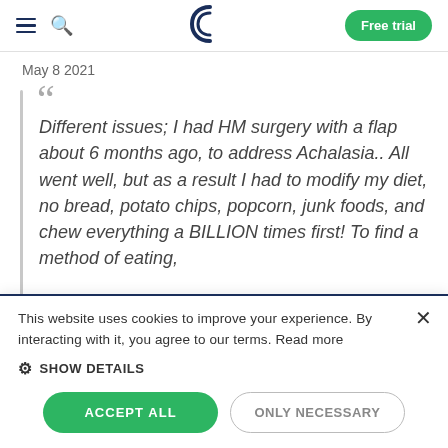D | Free trial
May 8 2021
Different issues; I had HM surgery with a flap about 6 months ago, to address Achalasia.. All went well, but as a result I had to modify my diet, no bread, potato chips, popcorn, junk foods, and chew everything a BILLION times first! To find a method of eating,
This website uses cookies to improve your experience. By interacting with it, you agree to our terms. Read more
SHOW DETAILS
ACCEPT ALL
ONLY NECESSARY